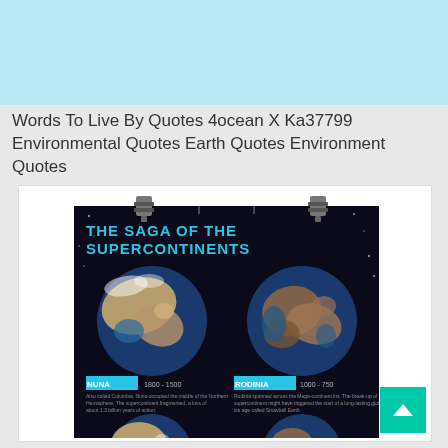[Figure (other): Light blue banner/header background area at the top of the page]
Words To Live By Quotes 4ocean X Ka37799 Environmental Quotes Earth Quotes Environment Quotes
[Figure (infographic): A poster titled 'THE SAGA OF THE SUPERCONTINENTS' showing multiple views of Earth from space on a dark/starry background, with labeled supercontinents including NUNA (1800-1500) and RODINIA (1000-750), suspended by binder clips. Additional partial globe views are visible at the bottom.]